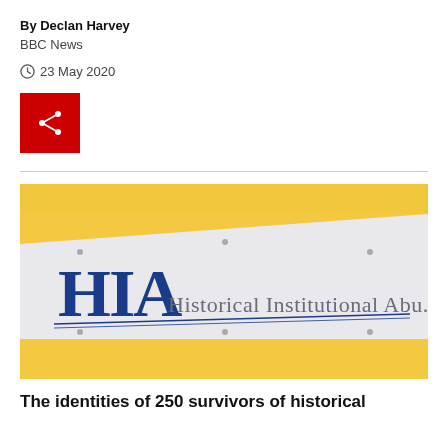By Declan Harvey
BBC News
23 May 2020
[Figure (other): Red share button with share/network icon]
[Figure (photo): Photo of HIA (Historical Institutional Abuse) signage on a yellow wall — white banner with large blue letters 'HIA' and text 'Historical Institutional Abu...' partially visible]
The identities of 250 survivors of historical